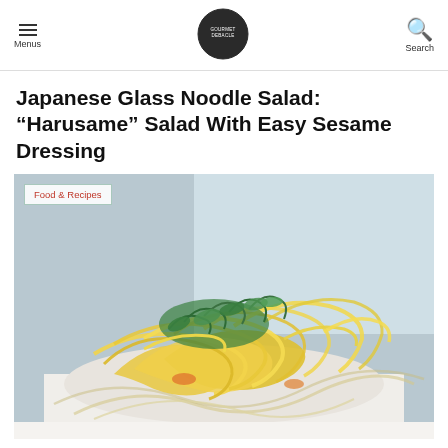Menus | [Logo: GOURMET DEBACLE] | Search
Japanese Glass Noodle Salad: “Harusame” Salad With Easy Sesame Dressing
[Figure (photo): Close-up photo of Japanese glass noodle salad (harusame) with yellow noodles, fresh green herbs/cilantro on top, and colorful vegetables, served in a white bowl, with a blurred background window.]
Food & Recipes